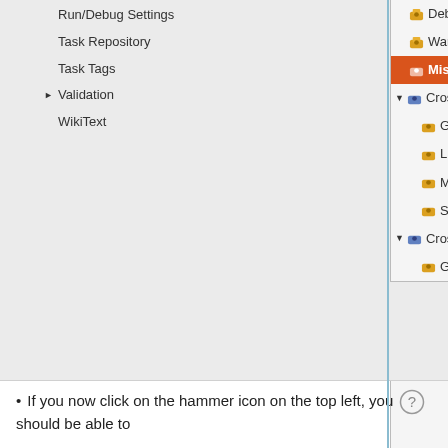[Figure (screenshot): Eclipse IDE project properties dialog screenshot showing a tree navigation on the right side with items: Debugging, Warnings, Miscellaneous (selected/highlighted in orange), Cross GCC Linker (expanded) with children General, Libraries, Miscellaneous, Shared Library S..., Cross GCC Assemb... (expanded) with child General. Left panel shows tree items: Run/Debug Settings, Task Repository, Task Tags, Validation (with arrow), WikiText. Bottom section shows a help/question mark icon circle and a bullet point text beginning with 'If you now click on the hammer icon on the top left, you should be able to']
If you now click on the hammer icon on the top left, you should be able to